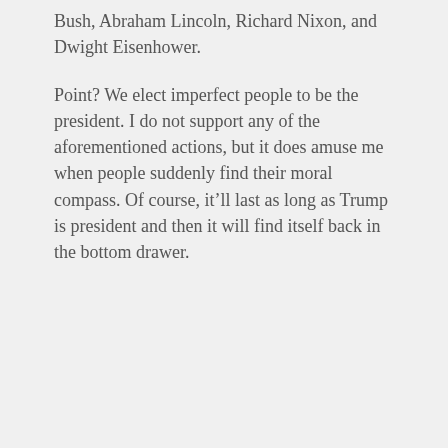Bush, Abraham Lincoln, Richard Nixon, and Dwight Eisenhower.
Point? We elect imperfect people to be the president. I do not support any of the aforementioned actions, but it does amuse me when people suddenly find their moral compass. Of course, it’ll last as long as Trump is president and then it will find itself back in the bottom drawer.